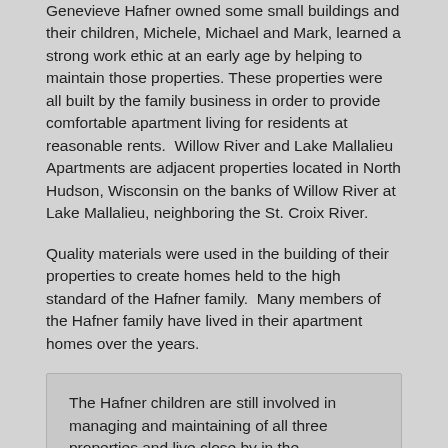Genevieve Hafner owned some small buildings and their children, Michele, Michael and Mark, learned a strong work ethic at an early age by helping to maintain those properties. These properties were all built by the family business in order to provide comfortable apartment living for residents at reasonable rents. Willow River and Lake Mallalieu Apartments are adjacent properties located in North Hudson, Wisconsin on the banks of Willow River at Lake Mallalieu, neighboring the St. Croix River.
Quality materials were used in the building of their properties to create homes held to the high standard of the Hafner family. Many members of the Hafner family have lived in their apartment homes over the years.
The Hafner children are still involved in managing and maintaining of all three properties and live close by in the neighboring communities. They enjoy getting to know the residents, some of which have lived in their apartments for many years.
The main office for both properties is located at Lake Mallalieu